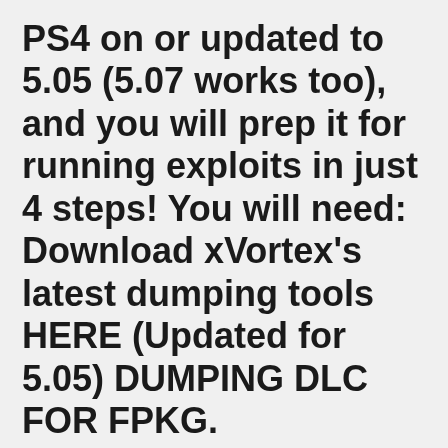PS4 on or updated to 5.05 (5.07 works too), and you will prep it for running exploits in just 4 steps! You will need: Download xVortex's latest dumping tools HERE (Updated for 5.05) DUMPING DLC FOR FPKG.
If you purchased the DLC in-game, you may need to completely exit the game to complete the download. Clear the cache on your console. If the DLC doesn't download successfully or is unplayable, try downloading the DLC again. Be sure that your PlayStation account allows you to download content. You might need to Restore your PS4 license. To do this: The infamous hacking group Team Fail0verflow have released some rather